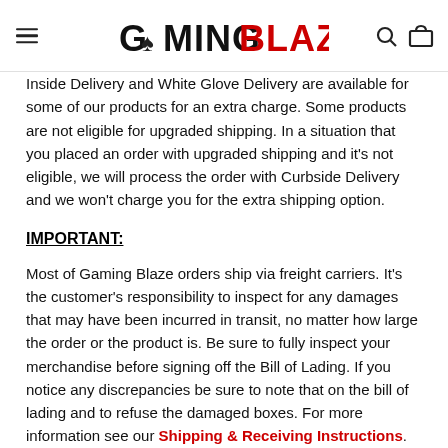GAMINGBLAZE
Inside Delivery and White Glove Delivery are available for some of our products for an extra charge. Some products are not eligible for upgraded shipping. In a situation that you placed an order with upgraded shipping and it's not eligible, we will process the order with Curbside Delivery and we won't charge you for the extra shipping option.
IMPORTANT:
Most of Gaming Blaze orders ship via freight carriers. It's the customer's responsibility to inspect for any damages that may have been incurred in transit, no matter how large the order or the product is. Be sure to fully inspect your merchandise before signing off the Bill of Lading. If you notice any discrepancies be sure to note that on the bill of lading and to refuse the damaged boxes. For more information see our Shipping & Receiving Instructions.